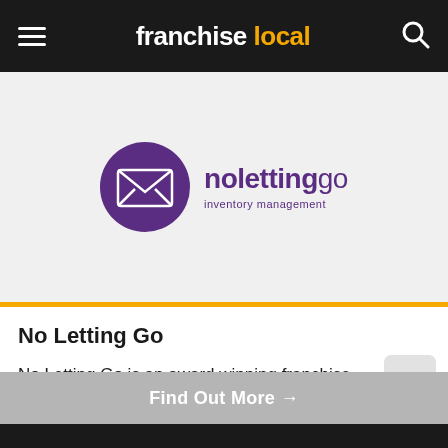franchise local
[Figure (logo): No Letting Go inventory management logo — purple circle with open envelope icon, text 'nolettinggo inventory management' in purple]
No Letting Go
No Letting Go is an award winning franchise business, providing inventory management to letting agen...
Min. Investment: £17,995
Find Out More →